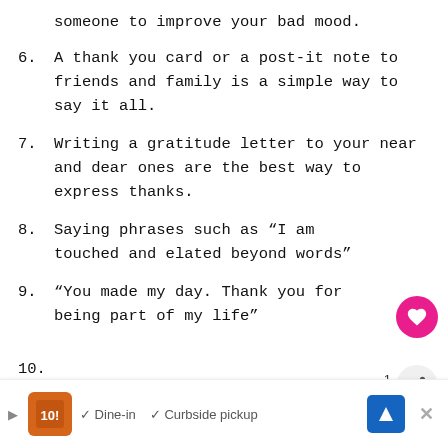someone to improve your bad mood.
6. A thank you card or a post-it note to friends and family is a simple way to say it all.
7. Writing a gratitude letter to your near and dear ones are the best way to express thanks.
8. Saying phrases such as “I am touched and elated beyond words”
9. “You made my day. Thank you for being part of my life”
10.
[Figure (other): Advertisement banner showing restaurant with Dine-in and Curbside pickup options]